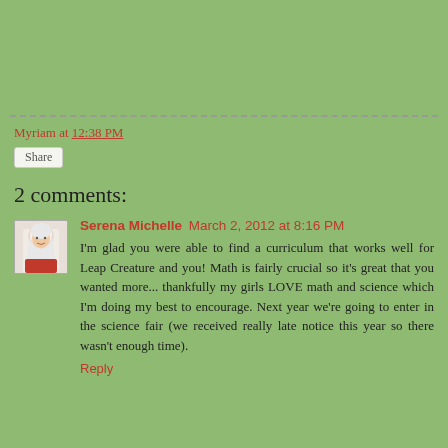Myriam at 12:38 PM
Share
2 comments:
Serena Michelle  March 2, 2012 at 8:16 PM
I'm glad you were able to find a curriculum that works well for Leap Creature and you! Math is fairly crucial so it's great that you wanted more... thankfully my girls LOVE math and science which I'm doing my best to encourage. Next year we're going to enter in the science fair (we received really late notice this year so there wasn't enough time).
Reply